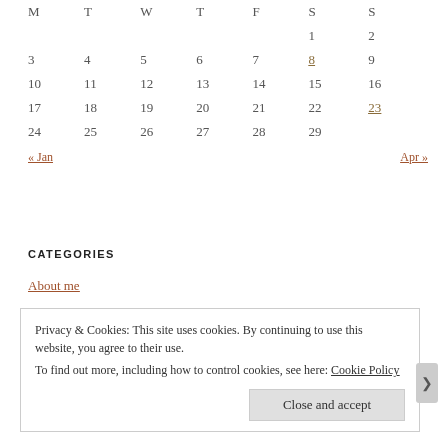| M | T | W | T | F | S | S |
| --- | --- | --- | --- | --- | --- | --- |
|  |  |  |  |  | 1 | 2 |
| 3 | 4 | 5 | 6 | 7 | 8 | 9 |
| 10 | 11 | 12 | 13 | 14 | 15 | 16 |
| 17 | 18 | 19 | 20 | 21 | 22 | 23 |
| 24 | 25 | 26 | 27 | 28 | 29 |  |
| « Jan |  |  |  |  |  | Apr » |
CATEGORIES
About me
Privacy & Cookies: This site uses cookies. By continuing to use this website, you agree to their use.
To find out more, including how to control cookies, see here: Cookie Policy
Close and accept